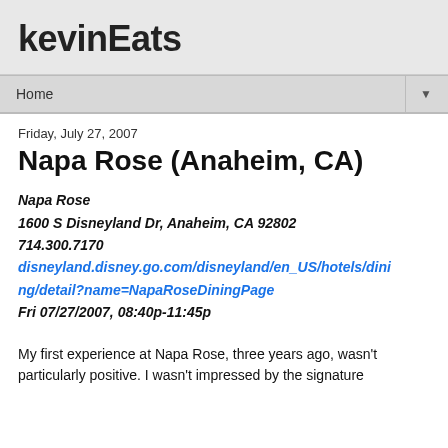kevinEats
Home
Friday, July 27, 2007
Napa Rose (Anaheim, CA)
Napa Rose
1600 S Disneyland Dr, Anaheim, CA 92802
714.300.7170
disneyland.disney.go.com/disneyland/en_US/hotels/dining/detail?name=NapaRoseDiningPage
Fri 07/27/2007, 08:40p-11:45p
My first experience at Napa Rose, three years ago, wasn't particularly positive. I wasn't impressed by the signature "Grapes Sparkling Gianduja, the menu disclaimer will be during